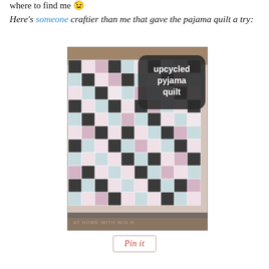where to find me 😉
Here's someone craftier than me that gave the pajama quilt a try:
[Figure (photo): Photo of an upcycled pyjama quilt made from patchwork squares in pink floral, light blue floral, and black/white plaid fabrics laid on a crib or bed. Overlaid text in white on dark rounded rectangle reads 'upcycled pyjama quilt'. Watermark at bottom: 'AT HOME WITH WIS H']
Pin it